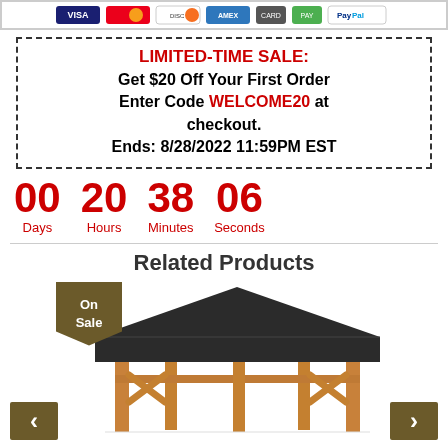[Figure (other): Payment method icons: Visa, Mastercard, Discover, Amex, and PayPal logos in a banner]
LIMITED-TIME SALE:
Get $20 Off Your First Order
Enter Code WELCOME20 at checkout.
Ends: 8/28/2022 11:59PM EST
00 Days  20 Hours  38 Minutes  06 Seconds
Related Products
[Figure (photo): Hardtop gazebo with cedar wood frame and dark metal roof, shown on white background. On Sale badge overlay in brown.]